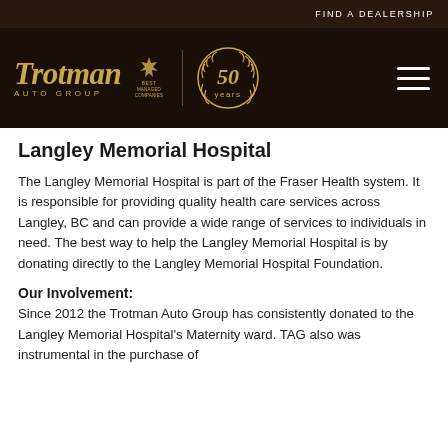FIND A DEALERSHIP
[Figure (logo): Trotman Auto Group logo with italic serif wordmark in gold, 'AUTO GROUP' text, Best Managed Companies badge, vertical divider, and 50 Years anniversary laurel emblem]
Langley Memorial Hospital
The Langley Memorial Hospital is part of the Fraser Health system. It is responsible for providing quality health care services across Langley, BC and can provide a wide range of services to individuals in need. The best way to help the Langley Memorial Hospital is by donating directly to the Langley Memorial Hospital Foundation.
Our Involvement:
Since 2012 the Trotman Auto Group has consistently donated to the Langley Memorial Hospital's Maternity ward. TAG also was instrumental in the purchase of